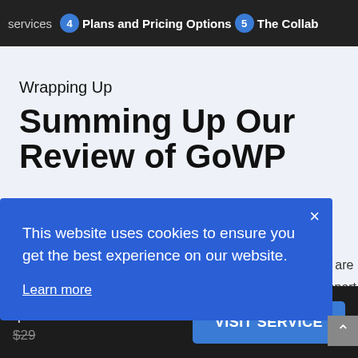Services 4 Plans and Pricing Options 5 The Collab
Wrapping Up
Summing Up Our Review of GoWP
This website uses cookies to ensure you get the best experience on our website.

Learn more
or are
upport
light
$29
$29
VISIT SERVICE